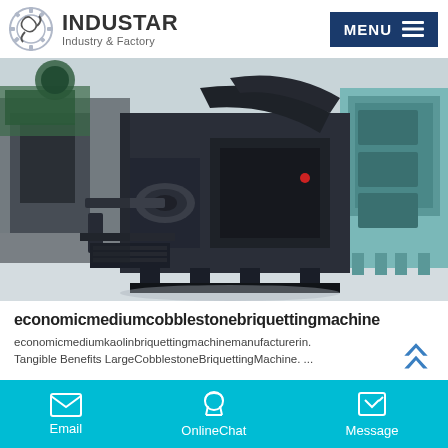INDUSTAR Industry & Factory
[Figure (photo): Industrial briquetting machine in a factory setting, large dark metal machinery on a concrete floor with teal/green industrial equipment in the background]
economicmediumcobblestonebriquettingmachine
economicmediumkaolinbriquettingmachinemanufacturerin. Tangible Benefits LargeCobblestoneBriquettingMachine. ...
Email   OnlineChat   Message